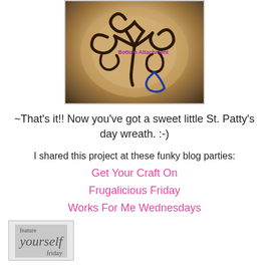[Figure (photo): Photo of a St. Patty's day wreath craft project showing a round foam ball with dark wire twisted into shamrock/flower shapes on top. Purple annotation text reads 'Bottom Attachment' and a blue hand-drawn arrow/triangle points to the bottom attachment point.]
~That's it!! Now you've got a sweet little St. Patty's day wreath. :-)
I shared this project at these funky blog parties:
Get Your Craft On
Frugalicious Friday
Works For Me Wednesdays
[Figure (photo): Badge/button image for 'feature yourself friday' blog party with gray background and stylized text]